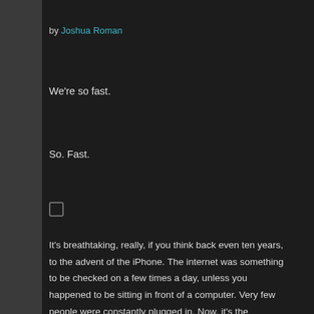by Joshua Roman
We're so fast.
So. Fast.
[Figure (other): Small empty checkbox/square icon]
It's breathtaking, really, if you think back even ten years, to the advent of the iPhone. The internet was something to be checked on a few times a day, unless you happened to be sitting in front of a computer. Very few people were constantly plugged in. Now, it's the complete opposite.
This is not a new trope; only an acceleration of a theme common throughout human development especially after the industrial age. As we create more and more ways to bring convenience into our everyday life, time for reflection and articulation becomes harder to find. In a world of increasingly instantaneous sharing, the pressure to be immediate exerts itself in ways we do not yet fully